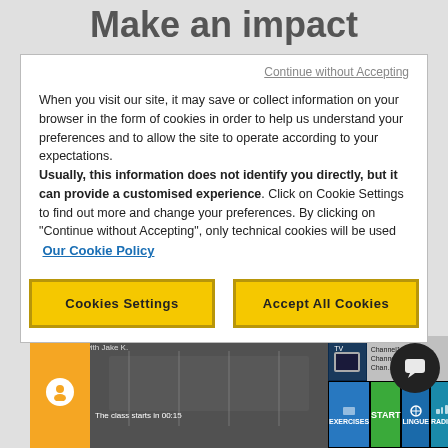Make an impact
Continue without Accepting
When you visit our site, it may save or collect information on your browser in the form of cookies in order to help us understand your preferences and to allow the site to operate according to your expectations. Usually, this information does not identify you directly, but it can provide a customised experience. Click on Cookie Settings to find out more and change your preferences. By clicking on "Continue without Accepting", only technical cookies will be used
Our Cookie Policy
Cookies Settings
Accept All Cookies
[Figure (screenshot): Fitness app interface showing gym workout video, exercise tiles (EXERCISES, START, LINGUE, RADIO), and TV/channel panel]